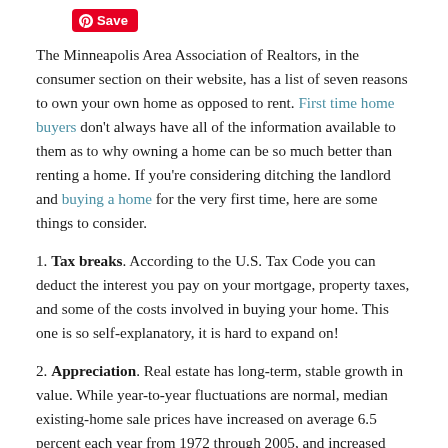[Figure (logo): Pinterest Save button in red with white text]
The Minneapolis Area Association of Realtors, in the consumer section on their website, has a list of seven reasons to own your own home as opposed to rent. First time home buyers don't always have all of the information available to them as to why owning a home can be so much better than renting a home. If you're considering ditching the landlord and buying a home for the very first time, here are some things to consider.
1. Tax breaks. According to the U.S. Tax Code you can deduct the interest you pay on your mortgage, property taxes, and some of the costs involved in buying your home. This one is so self-explanatory, it is hard to expand on!
2. Appreciation. Real estate has long-term, stable growth in value. While year-to-year fluctuations are normal, median existing-home sale prices have increased on average 6.5 percent each year from 1972 through 2005, and increased 88.5 percent over the last 10 years, according to the National Association of Realtors®. Additionally, the number of U.S. households is expected to rise by